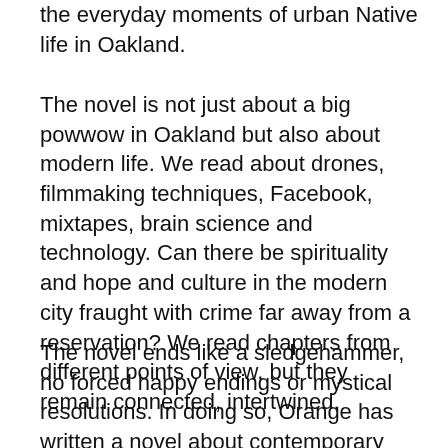the everyday moments of urban Native life in Oakland.
The novel is not just about a big powwow in Oakland but also about modern life. We read about drones, filmmaking techniques, Facebook, mixtapes, brain science and technology. Can there be spirituality and hope and culture in the modern city fraught with crime far away from a reservation? We read chapters from different points of view, but they remain connected, intertwined.
The novel ends like a sledgehammer, no forced happy endings or mystical resolutions. In doing so, Orange has written a novel about contemporary Native American life unlike any other book.